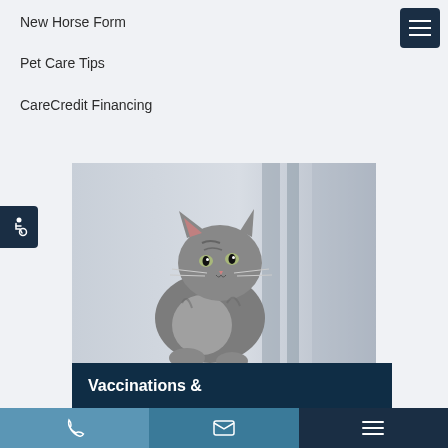New Horse Form
Pet Care Tips
CareCredit Financing
[Figure (photo): A silver tabby kitten sitting and looking upward, photographed in black and white style near a window]
Vaccinations &
Phone | Email | Menu navigation bar